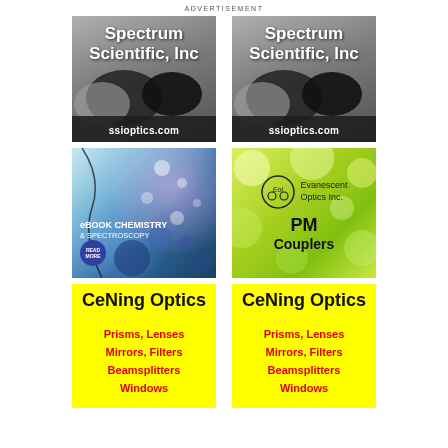ADVERTISEMENT
[Figure (logo): Spectrum Scientific, Inc advertisement with gray lens background and ssioptics.com footer (left)]
[Figure (logo): Spectrum Scientific, Inc advertisement with gray lens background and ssioptics.com footer (right)]
[Figure (photo): eBook Chemistry & Spectroscopy advertisement with blue/purple water droplets background]
[Figure (logo): Evanescent Optics Inc. - PM Couplers advertisement with green bokeh background]
[Figure (infographic): CeNing Optics yellow advertisement - Prisms, Lenses, Mirrors, Filters, Beamsplitters, Windows (left)]
[Figure (infographic): CeNing Optics yellow advertisement - Prisms, Lenses, Mirrors, Filters, Beamsplitters, Windows (right)]